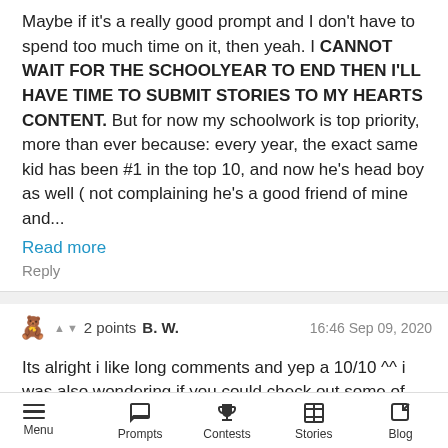Maybe if it's a really good prompt and I don't have to spend too much time on it, then yeah. I CANNOT WAIT FOR THE SCHOOLYEAR TO END THEN I'LL HAVE TIME TO SUBMIT STORIES TO MY HEARTS CONTENT. But for now my schoolwork is top priority, more than ever because: every year, the exact same kid has been #1 in the top 10, and now he's head boy as well ( not complaining he's a good friend of mine and...
Read more
Reply
2 points  B. W.   16:46 Sep 09, 2020
Its alright i like long comments and yep a 10/10 ^^ i was also wondering if you could check out some of my stories like "Useless" and "Bonding?" and give me some feedback if you have the time
Menu  Prompts  Contests  Stories  Blog